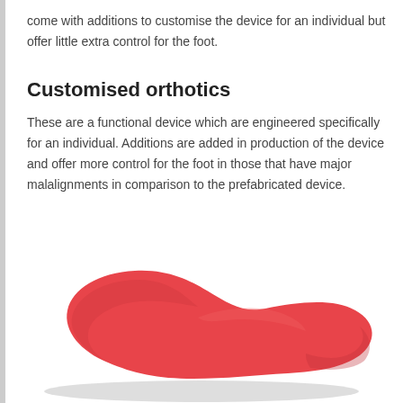come with additions to customise the device for an individual but offer little extra control for the foot.
Customised orthotics
These are a functional device which are engineered specifically for an individual. Additions are added in production of the device and offer more control for the foot in those that have major malalignments in comparison to the prefabricated device.
[Figure (photo): A red orthopaedic insole/foot orthotic viewed from above at an angle, showing the curved arch support shape, photographed against a white background with a slight shadow.]